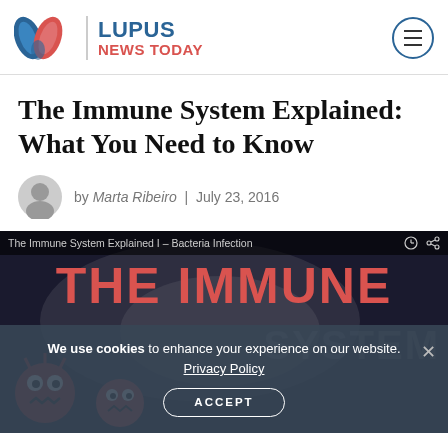Lupus News Today
The Immune System Explained: What You Need to Know
by Marta Ribeiro | July 23, 2016
[Figure (screenshot): Video thumbnail for 'The Immune System Explained I – Bacteria Infection' showing bold red text 'THE IMMUNE' and 'SYSTEM' with cartoon bacteria characters at the bottom.]
We use cookies to enhance your experience on our website. Privacy Policy ACCEPT